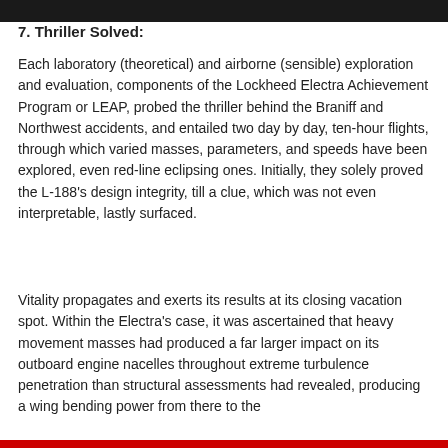7. Thriller Solved:
Each laboratory (theoretical) and airborne (sensible) exploration and evaluation, components of the Lockheed Electra Achievement Program or LEAP, probed the thriller behind the Braniff and Northwest accidents, and entailed two day by day, ten-hour flights, through which varied masses, parameters, and speeds have been explored, even red-line eclipsing ones. Initially, they solely proved the L-188's design integrity, till a clue, which was not even interpretable, lastly surfaced.
Vitality propagates and exerts its results at its closing vacation spot. Within the Electra's case, it was ascertained that heavy movement masses had produced a far larger impact on its outboard engine nacelles throughout extreme turbulence penetration than structural assessments had revealed, producing a wing bending power from there to the